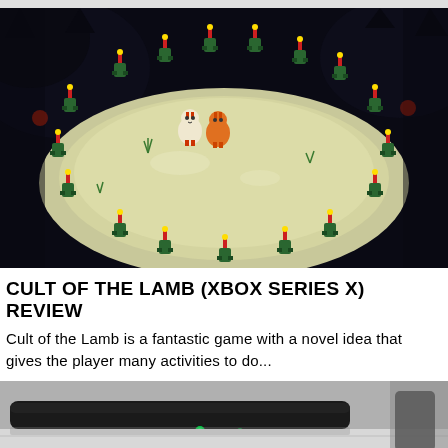[Figure (screenshot): Screenshot from Cult of the Lamb video game showing cartoon creature characters standing in a circle on a glowing platform in a dark forest/cave setting. Small green creature characters with red candles surround two central characters.]
CULT OF THE LAMB (XBOX SERIES X) REVIEW
Cult of the Lamb is a fantastic game with a novel idea that gives the player many activities to do...
[Figure (photo): Partial photo showing what appears to be gaming hardware/controller on a desk, partially cropped at bottom of page.]